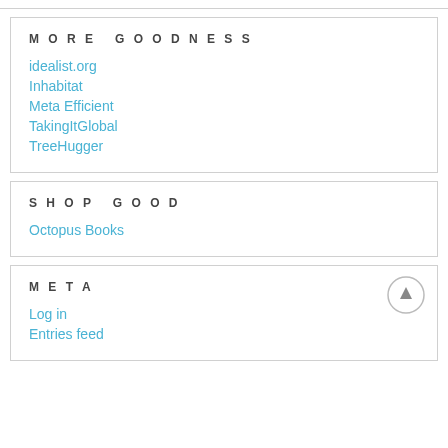MORE GOODNESS
idealist.org
Inhabitat
Meta Efficient
TakingItGlobal
TreeHugger
SHOP GOOD
Octopus Books
META
Log in
Entries feed